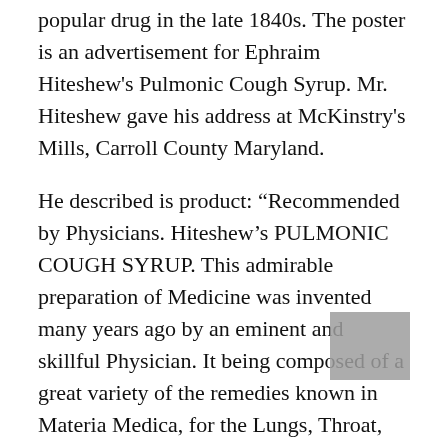popular drug in the late 1840s. The poster is an advertisement for Ephraim Hiteshew's Pulmonic Cough Syrup. Mr. Hiteshew gave his address at McKinstry's Mills, Carroll County Maryland.
He described is product: “Recommended by Physicians. Hiteshew’s PULMONIC COUGH SYRUP. This admirable preparation of Medicine was invented many years ago by an eminent and skillful Physician. It being composed of a great variety of the remedies known in Materia Medica, for the Lungs, Throat, and all Diseases of the Pulmonary Organs. Testimonials from hundreds of families could be given, who are entirely dependent upon it, as they have for many years considered it an indispensable article for Coughs, Cold Asthma, Bronchitis, Difficulty of Breathing, Pain and